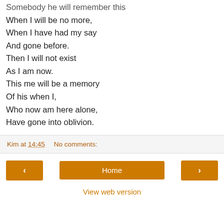Somebody he will remember this
When I will be no more,
When I have had my say
And gone before.
Then I will not exist
As I am now.
This me will be a memory
Of his when I,
Who now am here alone,
Have gone into oblivion.
Kim at 14:45   No comments:
‹   Home   ›
View web version